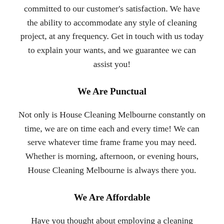committed to our customer's satisfaction. We have the ability to accommodate any style of cleaning project, at any frequency. Get in touch with us today to explain your wants, and we guarantee we can assist you!
We Are Punctual
Not only is House Cleaning Melbourne constantly on time, we are on time each and every time! We can serve whatever time frame frame you may need. Whether is morning, afternoon, or evening hours, House Cleaning Melbourne is always there you.
We Are Affordable
Have you thought about employing a cleaning company but found that it was way too pricey?